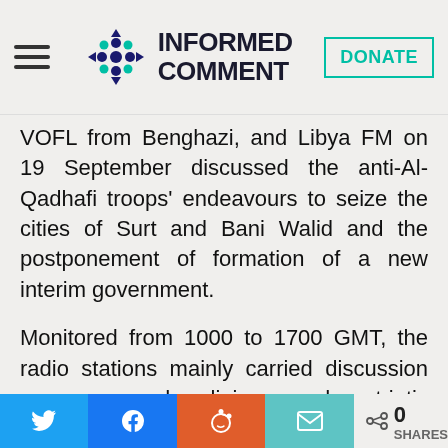Informed Comment [logo] DONATE
VOFL from Benghazi, and Libya FM on 19 September discussed the anti-Al-Qadhafi troops' endeavours to seize the cities of Surt and Bani Walid and the postponement of formation of a new interim government.
Monitored from 1000 to 1700 GMT, the radio stations mainly carried discussion programs and religious and patriotic songs.
Libya FM quoted Hisham Abu-Hajar
Share buttons: Twitter, Facebook, Reddit, Email | 0 SHARES